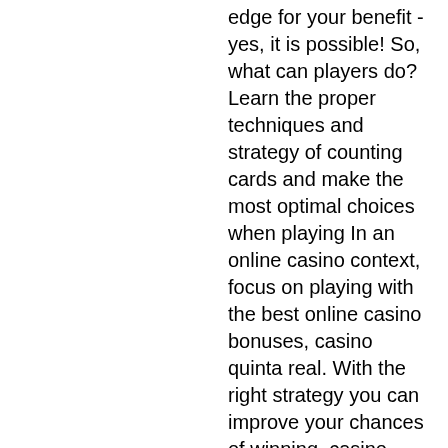edge for your benefit - yes, it is possible! So, what can players do? Learn the proper techniques and strategy of counting cards and make the most optimal choices when playing In an online casino context, focus on playing with the best online casino bonuses, casino quinta real. With the right strategy you can improve your chances of winning, casino quinta real. Daily Fantasy Sports, also known as DFS, has only become widely recognized in the US in the last few years, despite having been around for nearly a decade, winward bitcoin casino no deposit bonus 2022. By gavin andresen in 2010 to promote btc to a wider audience. Claim 500 to 3,000 satoshi - every day! ethereum mining, bitcoin faucet, advertising. Most faucet users just get disappointed with btc because they were simply unable to withdraw whatever they got from faucets